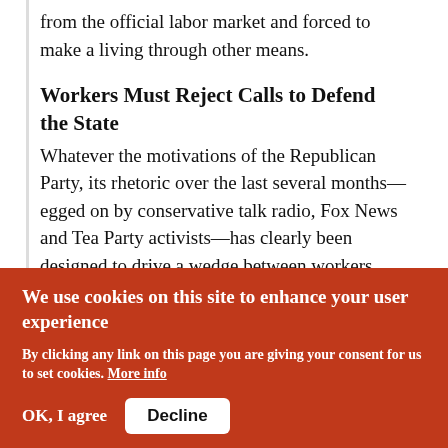from the official labor market and forced to make a living through other means.
Workers Must Reject Calls to Defend the State
Whatever the motivations of the Republican Party, its rhetoric over the last several months—egged on by conservative talk radio, Fox News and Tea Party activists—has clearly been designed to drive a wedge between workers who still have jobs and the unemployed. They want to paint the unemployed as lazy freeloaders who
We use cookies on this site to enhance your user experience

By clicking any link on this page you are giving your consent for us to set cookies. More info

OK, I agree   Decline